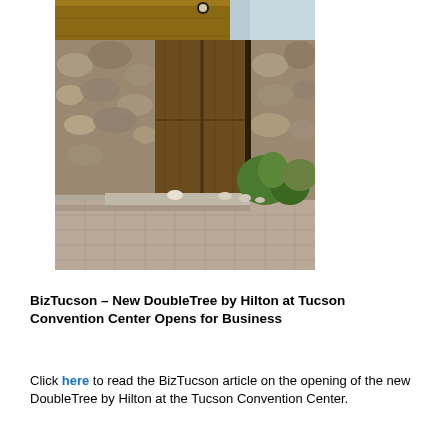[Figure (photo): Architectural photo of a modernist building entrance with stone walls, wooden ceiling, a large wooden door, tiled floor, and desert landscaping with green plants and rocks.]
BizTucson – New DoubleTree by Hilton at Tucson Convention Center Opens for Business
Click here to read the BizTucson article on the opening of the new DoubleTree by Hilton at the Tucson Convention Center.